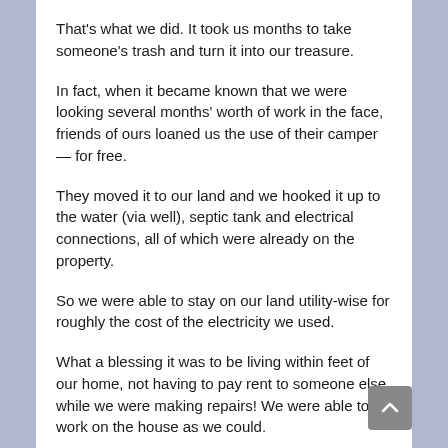That's what we did. It took us months to take someone's trash and turn it into our treasure.
In fact, when it became known that we were looking several months' worth of work in the face, friends of ours loaned us the use of their camper — for free.
They moved it to our land and we hooked it up to the water (via well), septic tank and electrical connections, all of which were already on the property.
So we were able to stay on our land utility-wise for roughly the cost of the electricity we used.
What a blessing it was to be living within feet of our home, not having to pay rent to someone else while we were making repairs! We were able to work on the house as we could.
Our handyman, being a contractor, handled the big stuff that contractors do and Vicki did much of the rest of the work herself.